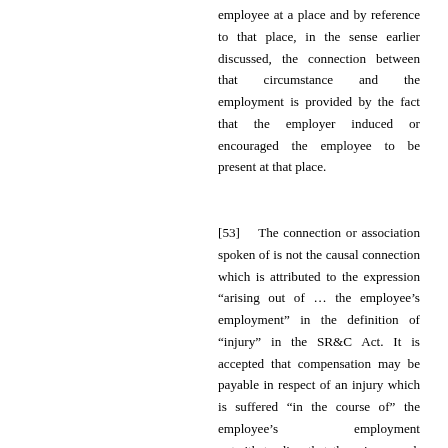employee at a place and by reference to that place, in the sense earlier discussed, the connection between that circumstance and the employment is provided by the fact that the employer induced or encouraged the employee to be present at that place.
[53]   The connection or association spoken of is not the causal connection which is attributed to the expression “arising out of … the employee’s employment” in the definition of “injury” in the SR&C Act. It is accepted that compensation may be payable in respect of an injury which is suffered “in the course of” the employee’s employment notwithstanding that there is no such causal connection.  The connection presently spoken of is by way of an association with the employment.  In Kavanagh v Commonwealth [(1960) 103 CLR 547 at 557], Dixon CJ said that “no direct … causal connexion … is proposed as an element necessary to satisfy the conception